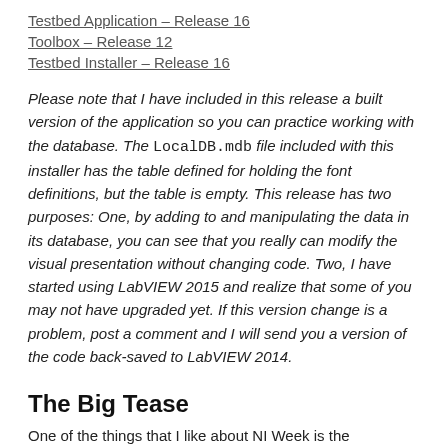Testbed Application – Release 16
Toolbox – Release 12
Testbed Installer – Release 16
Please note that I have included in this release a built version of the application so you can practice working with the database. The LocalDB.mdb file included with this installer has the table defined for holding the font definitions, but the table is empty. This release has two purposes: One, by adding to and manipulating the data in its database, you can see that you really can modify the visual presentation without changing code. Two, I have started using LabVIEW 2015 and realize that some of you may not have upgraded yet. If this version change is a problem, post a comment and I will send you a version of the code back-saved to LabVIEW 2014.
The Big Tease
One of the things that I like about NI Week is the opportunity to